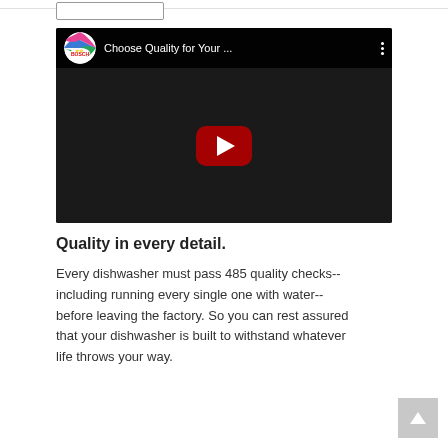[Figure (screenshot): YouTube embedded video thumbnail with Bosch channel icon, title 'Choose Quality for Your ...' and a YouTube play button in the center over a dark background showing people in a kitchen]
Quality in every detail.
Every dishwasher must pass 485 quality checks--including running every single one with water--before leaving the factory. So you can rest assured that your dishwasher is built to withstand whatever life throws your way.